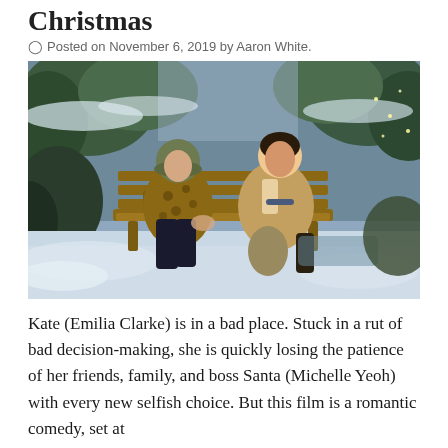Christmas
Posted on November 6, 2019 by Aaron White.
[Figure (photo): A man kneeling beside a woman seated on a wooden park bench in a snowy winter garden scene, both in warm coats, with snow-covered trees and fairy lights in the background.]
Kate (Emilia Clarke) is in a bad place. Stuck in a rut of bad decision-making, she is quickly losing the patience of her friends, family, and boss Santa (Michelle Yeoh) with every new selfish choice. But this film is a romantic comedy, set at